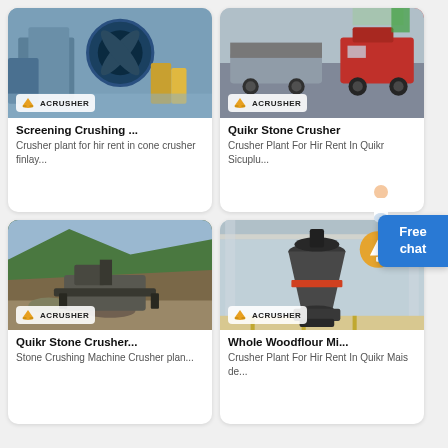[Figure (photo): Industrial sand washing / screening machine with blue drum wheel, outdoor setting with yellow equipment in background — ACRUSHER branded]
Screening Crushing ...
Crusher plant for hir rent in cone crusher finlay...
[Figure (photo): Mobile crusher plant trucks on road, red truck on right, grey machinery on truck flatbeds — ACRUSHER branded]
Quikr Stone Crusher
Crusher Plant For Hir Rent In Quikr Sicuplu...
[Figure (photo): Stone crushing machine in mountainous outdoor quarry with green hillside — ACRUSHER branded]
Quikr Stone Crusher...
Stone Crushing Machine Crusher plan...
[Figure (photo): Large cone crusher machine indoors in industrial hall — ACRUSHER branded]
Whole Woodflour Mi...
Crusher Plant For Hir Rent In Quikr Mais de...